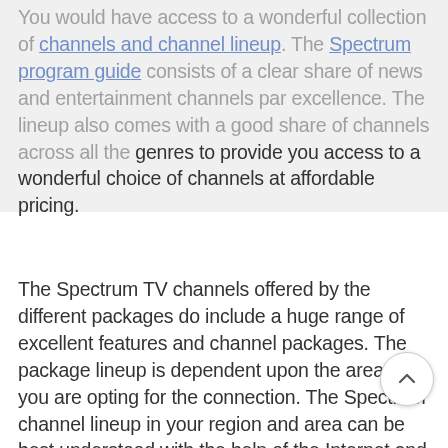You would have access to a wonderful collection of channels and channel lineup. The Spectrum program guide consists of a clear share of news and entertainment channels par excellence. The lineup also comes with a good share of channels across all the genres to provide you access to a wonderful choice of channels at affordable pricing.
The Spectrum TV channels offered by the different packages do include a huge range of excellent features and channel packages. The package lineup is dependent upon the area that you are opting for the connection. The Spectrum channel lineup in your region and area can be best understood with the help of the Internet and TV experts from Spectrum TV who will be more than willing to provide you complete with respect to all the aspects of the channel lineup